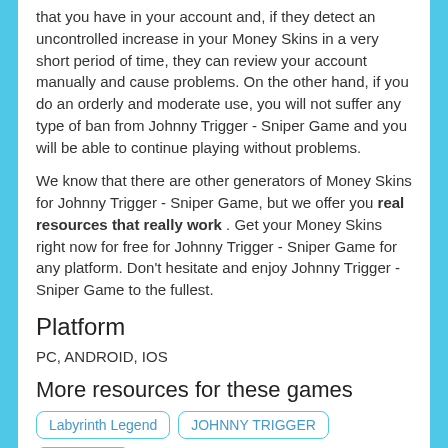that you have in your account and, if they detect an uncontrolled increase in your Money Skins in a very short period of time, they can review your account manually and cause problems. On the other hand, if you do an orderly and moderate use, you will not suffer any type of ban from Johnny Trigger - Sniper Game and you will be able to continue playing without problems.
We know that there are other generators of Money Skins for Johnny Trigger - Sniper Game, but we offer you real resources that really work . Get your Money Skins right now for free for Johnny Trigger - Sniper Game for any platform. Don't hesitate and enjoy Johnny Trigger - Sniper Game to the fullest.
Platform
PC, ANDROID, IOS
More resources for these games
Labyrinth Legend
JOHNNY TRIGGER
Mr Autofire